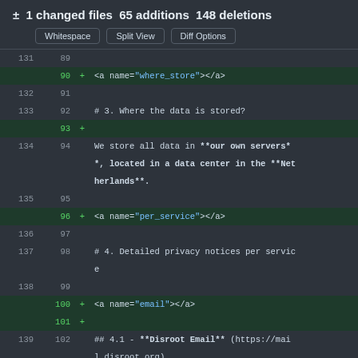± 1 changed files  65 additions  148 deletions
[Figure (screenshot): Git diff viewer showing code changes with line numbers, added lines highlighted in green, showing HTML anchor tags and markdown content about data storage and privacy notices]